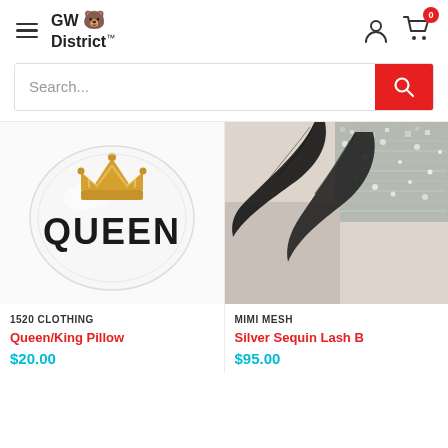GW District — navigation header with hamburger menu, logo, user icon, cart icon (0)
Search...
[Figure (photo): White square pillow with golden crown graphic and QUEEN text in bold black letters]
1520 CLOTHING
Queen/King Pillow
$20.00
[Figure (photo): Silver sequin lash box with black feather/palm design on beige background]
MIMI MESH
Silver Sequin Lash B...
$95.00